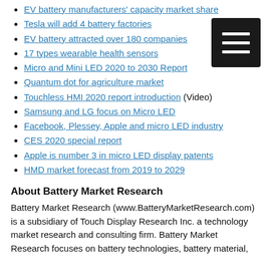EV battery manufacturers' capacity market share
Tesla will add 4 battery factories
EV battery attracted over 180 companies
17 types wearable health sensors
Micro and Mini LED 2020 to 2030 Report
Quantum dot for agriculture market
Touchless HMI 2020 report introduction (Video)
Samsung and LG focus on Micro LED
Facebook, Plessey, Apple and micro LED industry
CES 2020 special report
Apple is number 3 in micro LED display patents
HMD market forecast from 2019 to 2029
About Battery Market Research
Battery Market Research (www.BatteryMarketResearch.com) is a subsidiary of Touch Display Research Inc. a technology market research and consulting firm. Battery Market Research focuses on battery technologies, battery material,